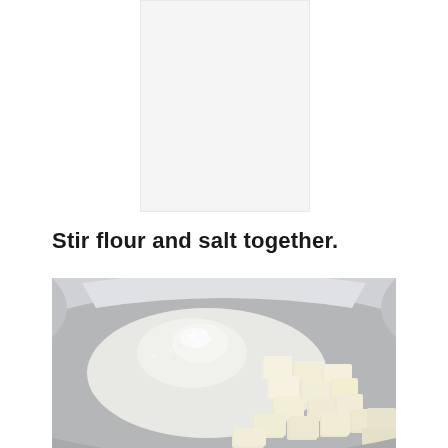[Figure (other): Light gray blank placeholder area at top of page]
Stir flour and salt together.
[Figure (photo): Close-up photo of a ceramic mixing bowl containing flour and cubed butter pieces, viewed from above, on a light gray background]